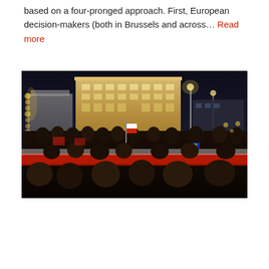based on a four-pronged approach. First, European decision-makers (both in Brussels and across… Read more
[Figure (photo): Night-time protest or demonstration in a city square. A large crowd gathers in front of an illuminated neo-classical government building. People carry Polish national flags (white and red) and EU flags. A large red banner is being held by the crowd. Christmas lights decorate the left side of the scene.]